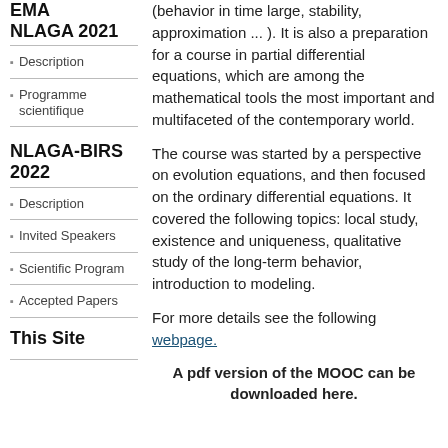EMA NLAGA 2021
Description
Programme scientifique
NLAGA-BIRS 2022
Description
Invited Speakers
Scientific Program
Accepted Papers
(behavior in time large, stability, approximation ... ).  It is also a preparation for a course in partial differential equations, which are among the mathematical tools the most important and multifaceted of the contemporary world.
The course was started by a perspective on evolution equations, and then focused on the ordinary differential equations. It covered the following topics: local study, existence and uniqueness, qualitative study of the long-term behavior, introduction to modeling.
For more details see the following webpage.
A pdf version of the MOOC can be downloaded here.
This Site